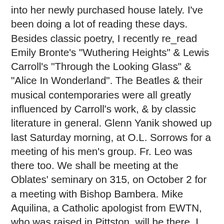into her newly purchased house lately. I've been doing a lot of reading these days. Besides classic poetry, I recently re_read Emily Bronte's "Wuthering Heights" & Lewis Carroll's "Through the Looking Glass" & "Alice In Wonderland". The Beatles & their musical contemporaries were all greatly influenced by Carroll's work, & by classic literature in general. Glenn Yanik showed up last Saturday morning, at O.L. Sorrows for a meeting of his men's group. Fr. Leo was there too. We shall be meeting at the Oblates' seminary on 315, on October 2 for a meeting with Bishop Bambera. Mike Aquilina, a Catholic apologist from EWTN, who was raised in Pittston, will be there. I lectored at 11:00 a.m. Mass last Sunday. The new schedule is now official. Michael called last week. He's home from Costa Rica. All went well for him & his friends over there. Although it was during the time when Hurricane Earl struck nothing bad happened anywhere near them. To my chagrin the summer will very soon be over. The weather lately always seems to be very cold, & frequently foggy, in the mornings. It gets very nice during the main part of the day though. There were a couple of thunderstorms a couple of days ago. We really need the rain so I didn't complain much.